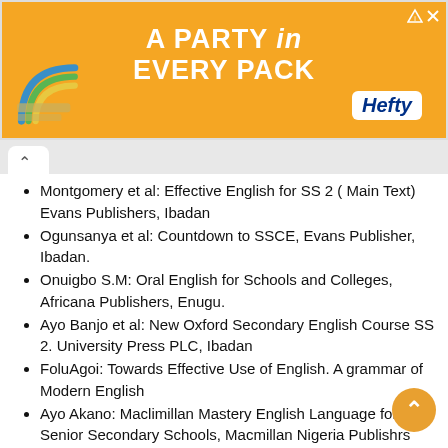[Figure (illustration): Orange advertisement banner reading 'A PARTY in EVERY PACK' with Hefty logo and rainbow graphic]
Montgomery et al: Effective English for SS 2 ( Main Text) Evans Publishers, Ibadan
Ogunsanya et al: Countdown to SSCE, Evans Publisher, Ibadan.
Onuigbo S.M: Oral English for Schools and Colleges, Africana Publishers, Enugu.
Ayo Banjo et al: New Oxford Secondary English Course SS 2. University Press PLC, Ibadan
FoluAgoi: Towards Effective Use of English. A grammar of Modern English
Ayo Akano: Maclimillan Mastery English Language for Senior Secondary Schools, Macmillan Nigeria Publishrs limited, Ibadan
Ken Mebele et al: Goodbye to Failure in English for